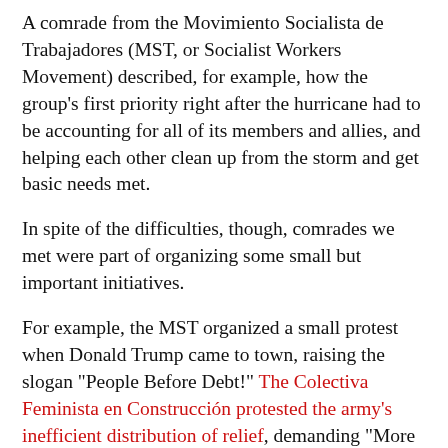A comrade from the Movimiento Socialista de Trabajadores (MST, or Socialist Workers Movement) described, for example, how the group's first priority right after the hurricane had to be accounting for all of its members and allies, and helping each other clean up from the storm and get basic needs met.
In spite of the difficulties, though, comrades we met were part of organizing some small but important initiatives.
For example, the MST organized a small protest when Donald Trump came to town, raising the slogan "People Before Debt!" The Colectiva Feminista en Construcción protested the army's inefficient distribution of relief, demanding "More water, less militarization."
And the FMPR organized teachers and families for important protests and press conferences to keep schools open. We attended the union's protest at the